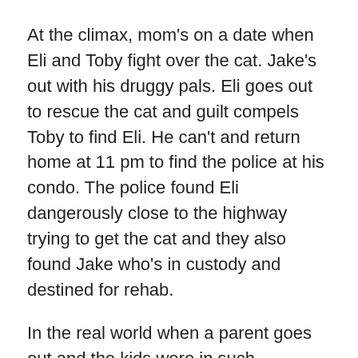At the climax, mom's on a date when Eli and Toby fight over the cat. Jake's out with his druggy pals. Eli goes out to rescue the cat and guilt compels Toby to find Eli. He can't and return home at 11 pm to find the police at his condo. The police found Eli dangerously close to the highway trying to get the cat and they also found Jake who's in custody and destined for rehab.
In the real world when a parent goes out and the kids were in such situations, the police would be derelict not to take the kids to child protective services. They'd have to investigate the mother, but McCormick doesn't go that route.
This slice of life novel doesn't end with a bow, but it also doesn't offer much hope. I bet Jake's back on drugs and unless the new wealthy boyfriend marries mom, the